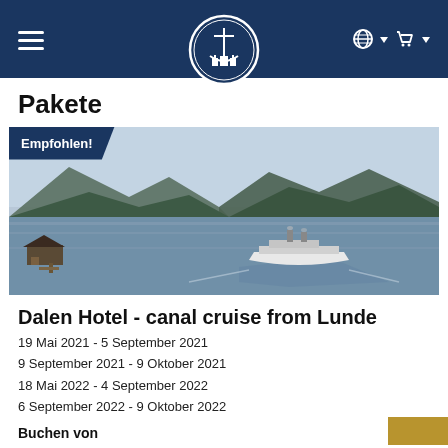Navigation bar with hamburger menu, ship logo, globe and cart icons
Pakete
[Figure (photo): Aerial/landscape photo of a steamship cruising through a calm fjord or lake surrounded by forested hills. An 'Empfohlen!' badge overlays the top-left corner.]
Dalen Hotel - canal cruise from Lunde
19 Mai 2021 - 5 September 2021
9 September 2021 - 9 Oktober 2021
18 Mai 2022 - 4 September 2022
6 September 2022 - 9 Oktober 2022
Buchen von